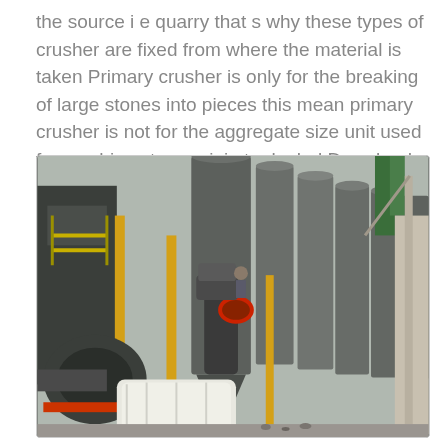the source i e quarry that s why these types of crusher are fixed from where the material is taken Primary crusher is only for the breaking of large stones into pieces this mean primary crusher is not for the aggregate size unit used for crushing stone origin tur lpehal Download Stone Crushing
[Figure (photo): Industrial stone crushing facility showing large dark metal silos, vertical cylindrical tanks, pipes, ducts, a worker on machinery, yellow structural columns, a crane on the right, and a white bulk bag on the ground in the foreground. The scene depicts a quarry/aggregate processing plant.]